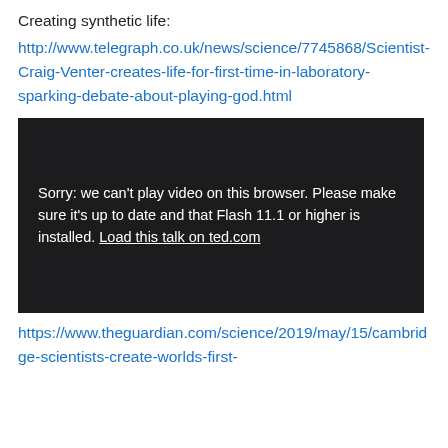Creating synthetic life:
http://www.telegraph.co.uk/news/science/7745868/Scientist-Craig-Venter-creates-life-for-first-time-in-laboratory-sparking-debate-about-playing-god.html
[Figure (screenshot): Dark video player with error message: 'Sorry: we can't play video on this browser. Please make sure it's up to date and that Flash 11.1 or higher is installed. Load this talk on ted.com']
https://www.theguardian.com/science/2019/may/15/cambridge-scientists-create-worlds-first-